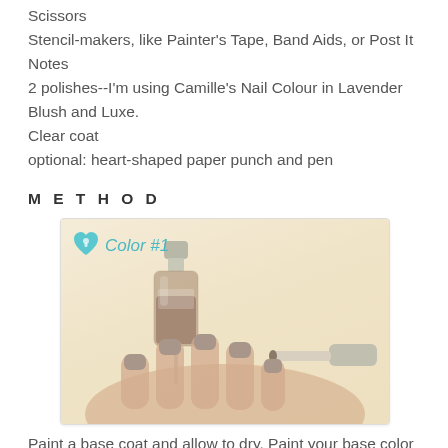Scissors
Stencil-makers, like Painter's Tape, Band Aids, or Post It Notes
2 polishes--I'm using Camille's Nail Colour in Lavender Blush and Luxe.
Clear coat
optional: heart-shaped paper punch and pen
M E T H O D
[Figure (photo): A nail polish bottle with a taupe/nude color shown next to a hand being painted with the polish. Text overlay reads 'Color #1' with a teal heart-lock icon.]
Paint a base coat and allow to dry. Paint your base color and allow to dry.